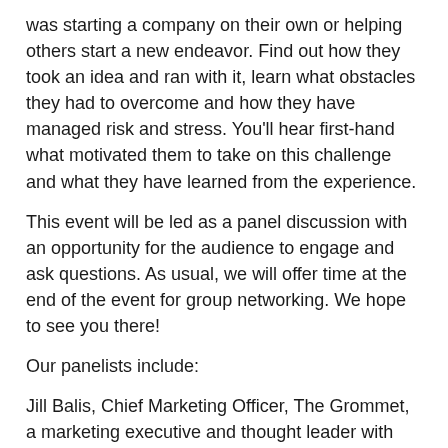was starting a company on their own or helping others start a new endeavor. Find out how they took an idea and ran with it, learn what obstacles they had to overcome and how they have managed risk and stress. You'll hear first-hand what motivated them to take on this challenge and what they have learned from the experience.
This event will be led as a panel discussion with an opportunity for the audience to engage and ask questions. As usual, we will offer time at the end of the event for group networking. We hope to see you there!
Our panelists include:
Jill Balis, Chief Marketing Officer, The Grommet, a marketing executive and thought leader with vast experience in the world of internet start-ups. Monica Gauba, Founder and Chief Executive Officer, EventHues, a leader with a proven track record of transforming businesses by conceptualizing, developing and launching new products. Erica Zahka, Founder and Chief Executive Officer, Own The Boardroom, the go-to brand for entrepreneurs and self-proclaimed...